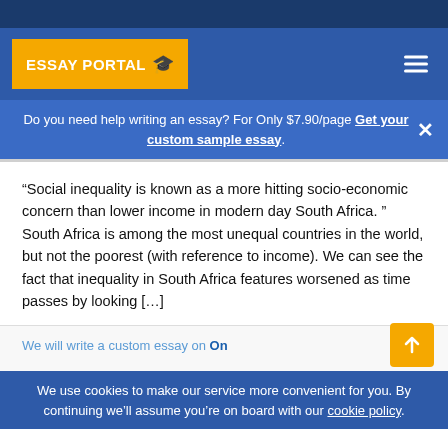ESSAY PORTAL
Do you need help writing an essay? For Only $7.90/page Get your custom sample essay.
“Social inequality is known as a more hitting socio-economic concern than lower income in modern day South Africa. ” South Africa is among the most unequal countries in the world, but not the poorest (with reference to income). We can see the fact that inequality in South Africa features worsened as time passes by looking […]
We will write a custom essay on On
We use cookies to make our service more convenient for you. By continuing we’ll assume you’re on board with our cookie policy.